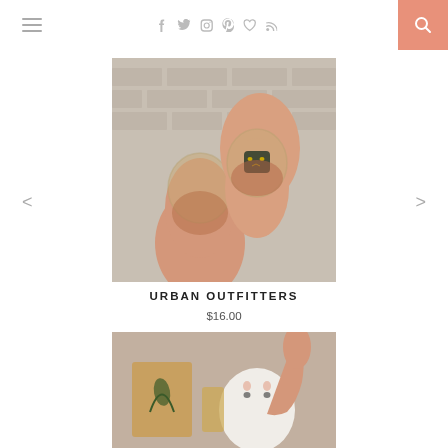Navigation header with hamburger menu, social icons (Facebook, Twitter, Instagram, Pinterest, Heart, RSS), and search button
[Figure (photo): Two hands clinking stemless wine glasses with cat face design against a brick wall background]
URBAN OUTFITTERS
$16.00
[Figure (photo): Hand holding a white cat-face ceramic item near a decorative book and candle]